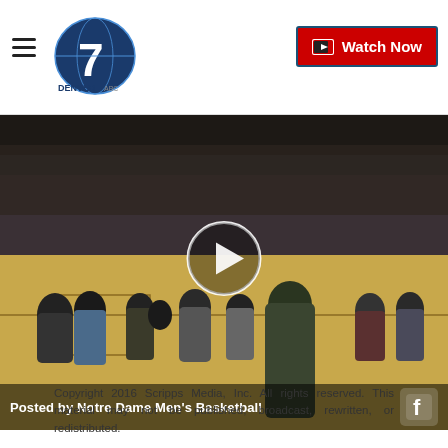Denver7 - Watch Now
[Figure (screenshot): Video thumbnail showing a basketball court scene with people standing on the court. A play button (white circle with triangle) is centered over the image. Bottom overlay reads 'Posted by Notre Dame Men's Basketball' with a Facebook icon.]
Posted by Notre Dame Men's Basketball
Copyright 2016 Scripps Media, Inc. All rights reserved. This material may not be published, broadcast, rewritten, or redistributed.